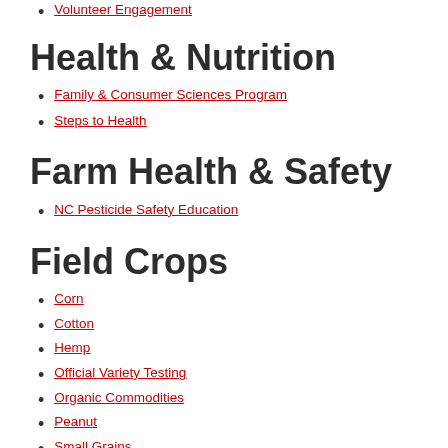Volunteer Engagement
Health & Nutrition
Family & Consumer Sciences Program
Steps to Health
Farm Health & Safety
NC Pesticide Safety Education
Field Crops
Corn
Cotton
Hemp
Official Variety Testing
Organic Commodities
Peanut
Small Grains
Soybeans
Stevia